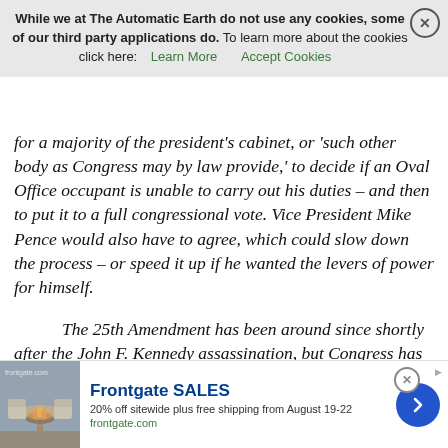While we at The Automatic Earth do not use any cookies, some of our third party applications do. To learn more about the cookies click here: Learn More  Accept Cookies
for a majority of the president's cabinet, or 'such other body as Congress may by law provide,' to decide if an Oval Office occupant is unable to carry out his duties – and then to put it to a full congressional vote. Vice President Mike Pence would also have to agree, which could slow down the process – or speed it up if he wanted the levers of power for himself.
The 25th Amendment has been around since shortly after the John F. Kennedy assassination, but Congress has never formed its own committee in case it's needed to judge a president's mental health. Raskin's bill would allow the four Republican and Democratic leaders of the House and Senate to each choose a psychiatrist and another doctor. Then each party would add a former statesman – like a retired president or vice president. The final group of 10 would meet
[Figure (other): Advertisement banner for Frontgate SALES: 20% off sitewide plus free shipping from August 19-22, frontgate.com, with product image of outdoor furniture with fire pit, and a blue circular arrow button.]